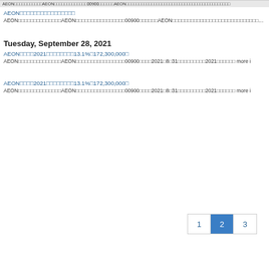AEON□□□□□□□□□□□AEON□□□□□□□□□□□□□00900□□□□□□AEON□□□□□□□□□□□□□□□□□□□□□□□□□□□□
AEON□□□□□□□□□□□□□□□□
AEON□□□□□□□□□□□□□□AEON□□□□□□□□□□□□□□□□00900□□□□□□AEON□□□□□□□□□□□□□□□□□□□□□□□□□□□□□□□□□□□
Tuesday, September 28, 2021
AEON□□□□2021□□□□□□□□13.1%□172,300,000□
AEON□□□□□□□□□□□□□□AEON□□□□□□□□□□□□□□□□00900□□□□2021□8□31□□□□□□□□□2021□□□□□□ more i
AEON□□□□2021□□□□□□□□13.1%□172,300,000□
AEON□□□□□□□□□□□□□□AEON□□□□□□□□□□□□□□□□00900□□□□2021□8□31□□□□□□□□□2021□□□□□□ more i